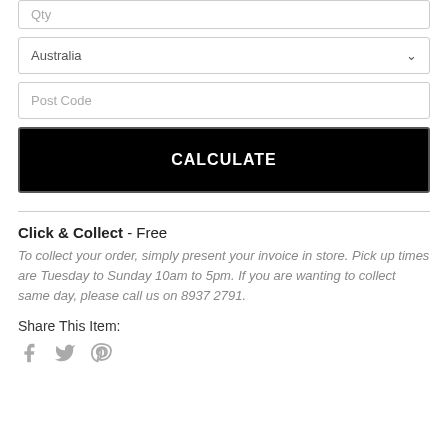Qty
Australia
Post Code
CALCULATE
Click & Collect - Free
To collect your order, simply present your invoice in store. Pick up times are Tuesday to Sunday 10am to 5pm. If you are wanting to collect same day, please call us on 8937 2791.
Share This Item: